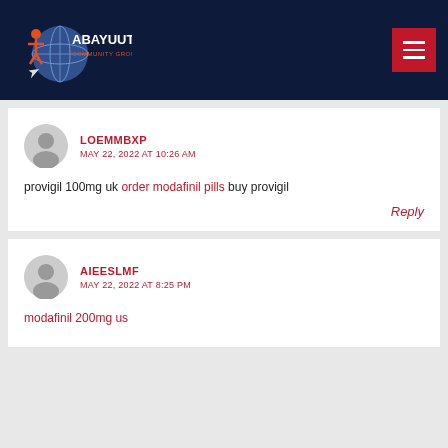[Figure (logo): Abayuuti Community Group logo with globe and figure on dark navy background]
LOEMMBXP
MAY 22, 2022 AT 10:26 AM
provigil 100mg uk order modafinil pills buy provigil
Reply
AIEESLMF
MAY 22, 2022 AT 8:25 PM
modafinil 200mg us